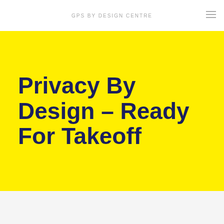GPS BY DESIGN CENTRE
Privacy By Design – Ready For Takeoff